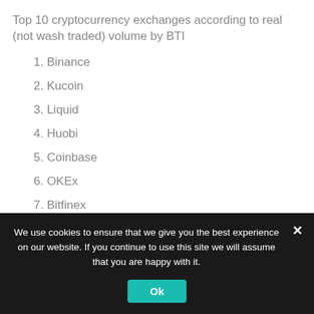Top 10 cryptocurrency exchanges according to real (not wash traded) volume by BTI
1. Binance
2. Kucoin
3. Liquid
4. Huobi
5. Coinbase
6. OKEx
7. Bitfinex
8. Upbit
9. Kraken
10. Bitstamp
We use cookies to ensure that we give you the best experience on our website. If you continue to use this site we will assume that you are happy with it.